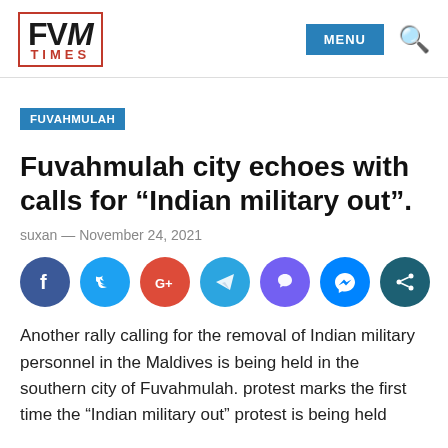FVM TIMES — MENU
FUVAHMULAH
Fuvahmulah city echoes with calls for “Indian military out”.
suxan — November 24, 2021
[Figure (other): Social media share icons: Facebook, Twitter, Google+, Telegram, Viber, Messenger, Share]
Another rally calling for the removal of Indian military personnel in the Maldives is being held in the southern city of Fuvahmulah. protest marks the first time the “Indian military out” protest is being held